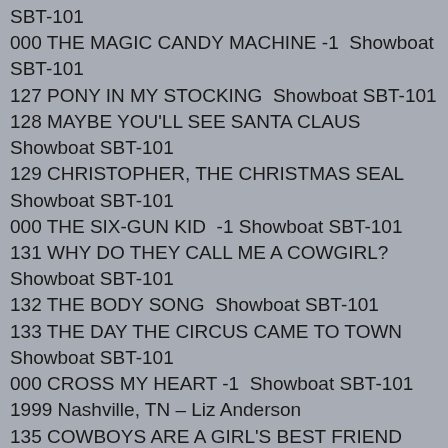SBT-101
000 THE MAGIC CANDY MACHINE -1  Showboat SBT-101
127 PONY IN MY STOCKING  Showboat SBT-101
128 MAYBE YOU'LL SEE SANTA CLAUS  Showboat SBT-101
129 CHRISTOPHER, THE CHRISTMAS SEAL  Showboat SBT-101
000 THE SIX-GUN KID  -1 Showboat SBT-101
131 WHY DO THEY CALL ME A COWGIRL?  Showboat SBT-101
132 THE BODY SONG  Showboat SBT-101
133 THE DAY THE CIRCUS CAME TO TOWN  Showboat SBT-101
000 CROSS MY HEART -1  Showboat SBT-101
1999 Nashville, TN – Liz Anderson
135 COWBOYS ARE A GIRL'S BEST FRIEND  Showboat SBT-107
136 BALLAD OF THE PONY EXPRESS  Showboat SBT-107
137 YODELING TEXAS LINEDANCE  Showboat SBT-107
138 DESERT RAT  Showboat SBT-107
139 WILD WILD WOMEN OF THE WILD WILD WEST  Showboat SBT-107